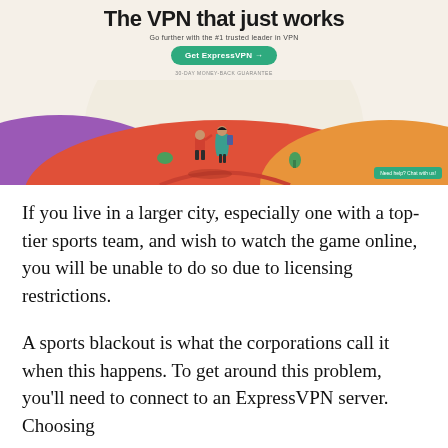[Figure (illustration): ExpressVPN advertisement banner with title 'The VPN that just works', subtitle 'Go further with the #1 trusted leader in VPN', a green 'Get ExpressVPN →' button, '30-day money-back guarantee' text, and an illustration of two people walking over colorful hills (purple, red, orange). A green chat badge in bottom-right corner reads 'Need help? Chat with us!']
If you live in a larger city, especially one with a top-tier sports team, and wish to watch the game online, you will be unable to do so due to licensing restrictions.
A sports blackout is what the corporations call it when this happens. To get around this problem, you'll need to connect to an ExpressVPN server. Choosing